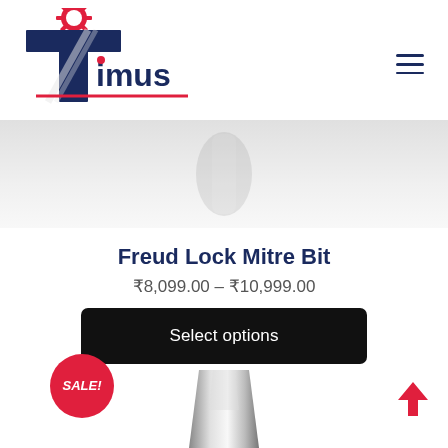[Figure (logo): Timus Tools logo with red saw blade and dark navy 'Timus' wordmark, with red underline]
[Figure (screenshot): Gray hero band with faded product image in center background]
Freud Lock Mitre Bit
₹8,099.00 – ₹10,999.00
Select options
SALE!
[Figure (photo): Metallic router bit partially visible at bottom of page]
[Figure (other): Red upward arrow scroll-to-top button in bottom right corner]